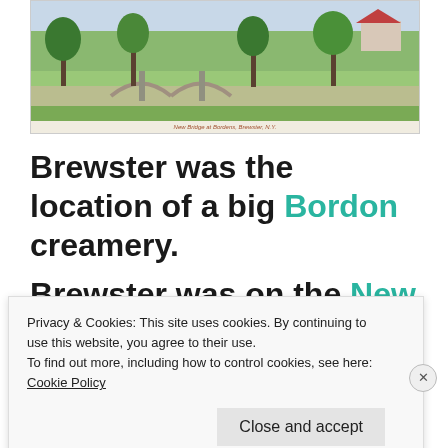[Figure (photo): Vintage postcard photograph showing a bridge and trees at Bordens, Brewster, N.Y. with a caption reading 'New Bridge at Bordens, Brewster, N.Y.']
New Bridge at Bordens, Brewster, N.Y.
Brewster was the location of a big Bordon creamery. Brewster was on the New York
Privacy & Cookies: This site uses cookies. By continuing to use this website, you agree to their use.
To find out more, including how to control cookies, see here:
Cookie Policy
Close and accept